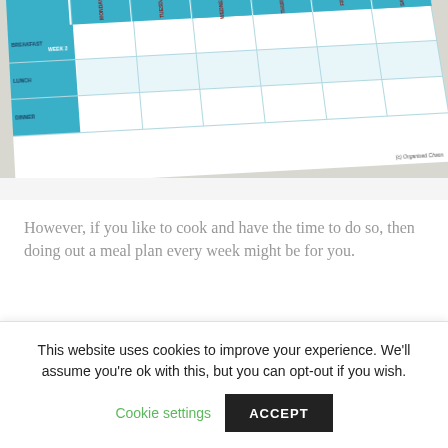[Figure (photo): A photo of a printed weekly meal plan chart with teal/blue colored header row and row labels. The chart shows columns for days of the week (Monday through Saturday) and rows for Breakfast, Lunch, and Dinner. The chart is labeled 'WEEK 2' and has a watermark reading '(c) Organised Chaos'.]
However, if you like to cook and have the time to do so, then doing out a meal plan every week might be for you.
This website uses cookies to improve your experience. We'll assume you're ok with this, but you can opt-out if you wish.
Cookie settings   ACCEPT